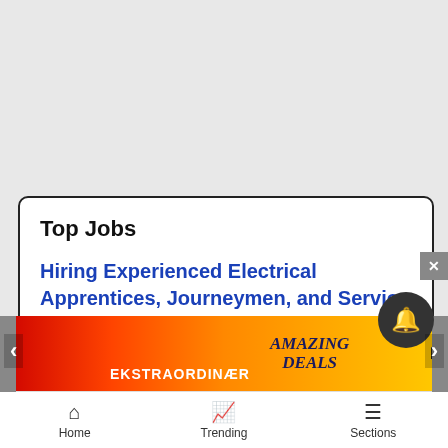Top Jobs
Hiring Experienced Electrical Apprentices, Journeymen, and Service Techs
[Figure (screenshot): Advertisement banner with gradient background (red to yellow), text 'EKSTRAORDINÆR', 'AMAZING DEALS', and 'BoConcept' brand name]
Home   Trending   Sections